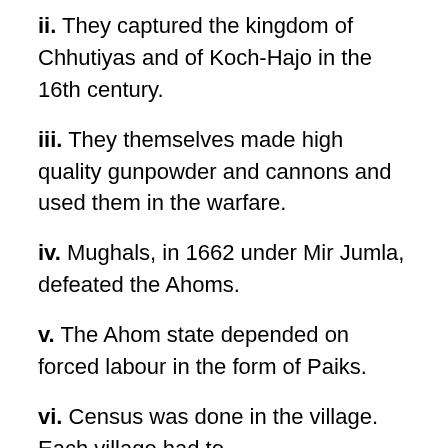ii. They captured the kingdom of Chhutiyas and of Koch-Hajo in the 16th century.
iii. They themselves made high quality gunpowder and cannons and used them in the warfare.
iv. Mughals, in 1662 under Mir Jumla, defeated the Ahoms.
v. The Ahom state depended on forced labour in the form of Paiks.
vi. Census was done in the village. Each village had to